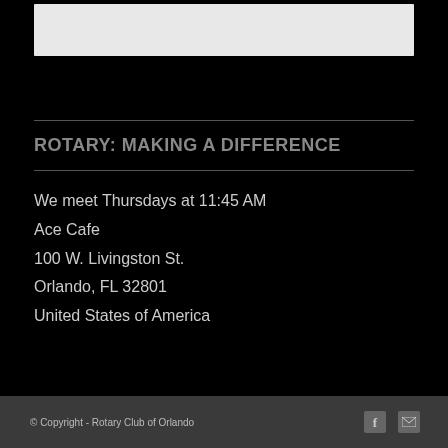[Figure (photo): White/light gray rectangular header image placeholder on black background]
ROTARY: MAKING A DIFFERENCE
We meet Thursdays at 11:45 AM
Ace Cafe
100 W. Livingston St.
Orlando, FL 32801
United States of America
© Copyright - Rotary Club of Orlando